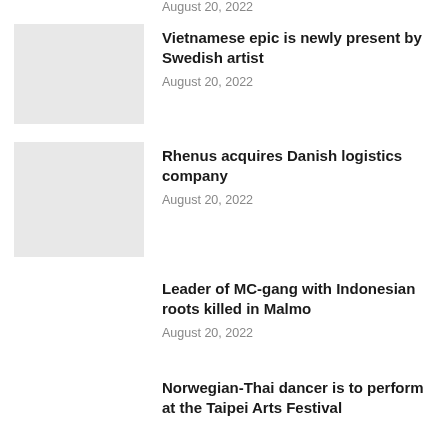August 20, 2022
Vietnamese epic is newly present by Swedish artist
August 20, 2022
Rhenus acquires Danish logistics company
August 20, 2022
Leader of MC-gang with Indonesian roots killed in Malmo
August 20, 2022
Norwegian-Thai dancer is to perform at the Taipei Arts Festival